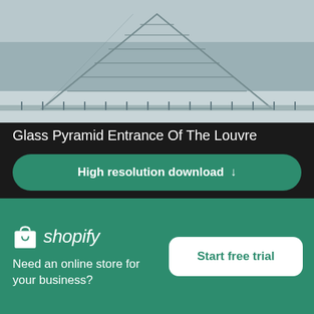[Figure (photo): Black and white photo of the Glass Pyramid entrance of the Louvre museum in Paris]
Glass Pyramid Entrance Of The Louvre
High resolution download ↓
[Figure (photo): Black and white architectural interior photo showing ceiling panels and dark triangular shapes on sides]
[Figure (logo): Shopify logo with shopping bag icon and italic wordmark]
Need an online store for your business?
Start free trial